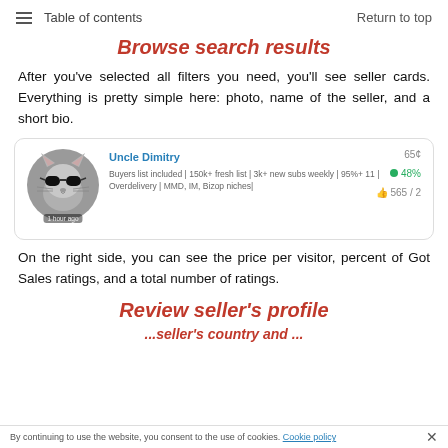Table of contents | Return to top
Browse search results
After you've selected all filters you need, you'll see seller cards. Everything is pretty simple here: photo, name of the seller, and a short bio.
[Figure (screenshot): Seller card for 'Uncle Dimitry' showing a cat photo with sunglasses, bio text about buyers list, 65¢ price, 48% Got Sales rating, and 565/2 ratings.]
On the right side, you can see the price per visitor, percent of Got Sales ratings, and a total number of ratings.
Review seller's profile
...seller's country and ...
By continuing to use the website, you consent to the use of cookies. Cookie policy